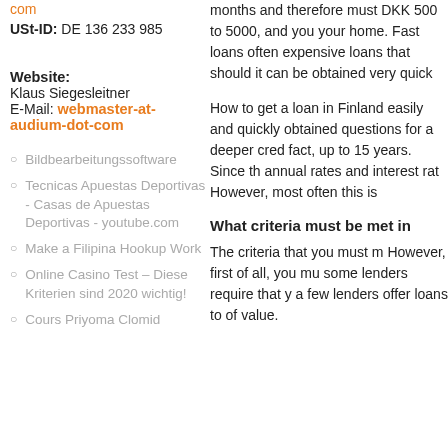com
USt-ID: DE 136 233 985
Website:
Klaus Siegesleitner
E-Mail: webmaster-at-audium-dot-com
Bildbearbeitungssoftware
Tecnicas Apuestas Deportivas - Casas de Apuestas Deportivas - youtube.com
Make a Filipina Hookup Work
Online Casino Test – Diese Kriterien sind 2020 wichtig!
Cours Priyoma Clomid
months and therefore must DKK 500 to 5000, and you your home. Fast loans often expensive loans that should it can be obtained very quickly
How to get a loan in Finland easily and quickly obtained questions for a deeper credit fact, up to 15 years. Since the annual rates and interest rates However, most often this is
What criteria must be met in
The criteria that you must m However, first of all, you mu some lenders require that y a few lenders offer loans to of value.